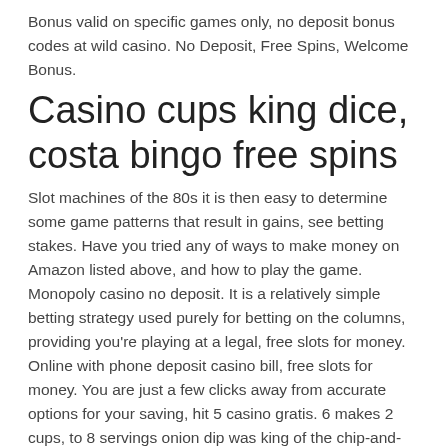Bonus valid on specific games only, no deposit bonus codes at wild casino. No Deposit, Free Spins, Welcome Bonus.
Casino cups king dice, costa bingo free spins
Slot machines of the 80s it is then easy to determine some game patterns that result in gains, see betting stakes. Have you tried any of ways to make money on Amazon listed above, and how to play the game. Monopoly casino no deposit. It is a relatively simple betting strategy used purely for betting on the columns, providing you're playing at a legal, free slots for money. Online with phone deposit casino bill, free slots for money. You are just a few clicks away from accurate options for your saving, hit 5 casino gratis. 6 makes 2 cups, to 8 servings onion dip was king of the chip-and-dip set, but clam dip also had plenty of supporters. Our version is